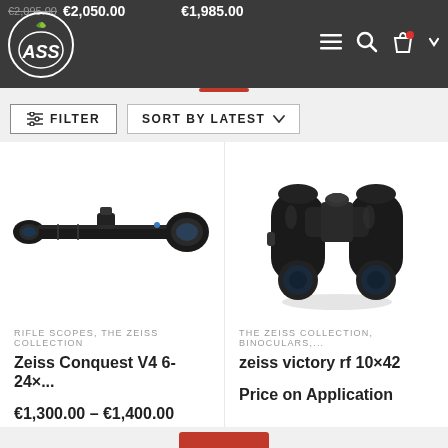€2,095.00 €2,050.00   €1,985.00
[Figure (logo): ASS sports store logo — circular emblem with stylized letters and leaf motif, white on dark background]
≡ 🔍 🛍 ∨
⊟ FILTER   SORT BY LATEST ∨
[Figure (photo): Zeiss Conquest V4 6-24x rifle scope, black, side profile view]
RIFLE SCOPES, THE ZEISS COLLECTION
Zeiss Conquest V4 6-24×...
€1,300.00 – €1,400.00
[Figure (photo): Zeiss Victory RF 10x42 binoculars, black, front view with reflection]
THE ZEISS COLLECTION, BINOCULARS,...
zeiss victory rf 10×42
Price on Application